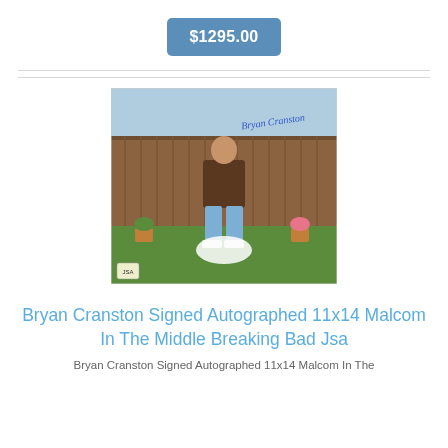$1295.00
[Figure (photo): Autographed 11x14 photo of Bryan Cranston as Hal from Malcolm in the Middle, standing in a backyard in front of a wooden fence, wearing a brown jacket and jeans. A blue autograph signature reading 'Bryan Cranston' is visible in the upper right of the photo. A JSA authentication sticker is visible at the lower left.]
Bryan Cranston Signed Autographed 11x14 Malcom In The Middle Breaking Bad Jsa
Bryan Cranston Signed Autographed 11x14 Malcom In The